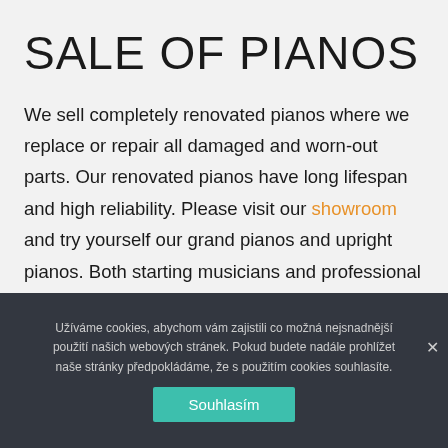SALE OF PIANOS
We sell completely renovated pianos where we replace or repair all damaged and worn-out parts. Our renovated pianos have long lifespan and high reliability. Please visit our showroom and try yourself our grand pianos and upright pianos. Both starting musicians and professional piano players can find the
Užíváme cookies, abychom vám zajistili co možná nejsnadnější použití našich webových stránek. Pokud budete nadále prohlížet naše stránky předpokládáme, že s použitím cookies souhlasíte.
Souhlasím